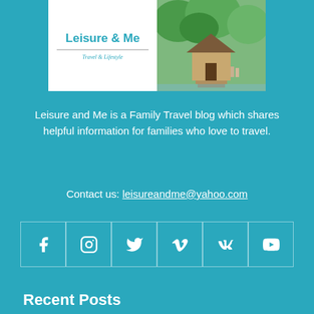[Figure (logo): Leisure and Me blog logo with text 'Leisure & Me' and 'Travel & Lifestyle' on white background, alongside a photo of a tropical house/temple with greenery]
Leisure and Me is a Family Travel blog which shares helpful information for families who love to travel.
Contact us: leisureandme@yahoo.com
[Figure (infographic): Row of 6 social media icons: Facebook, Instagram, Twitter, Vimeo, VK, YouTube — white icons on teal background with white borders]
Recent Posts
The 3 Best Places to Go on Vacation
5 Recommendations of 5-star Hotels in Singapore, Suitable for Family Trip!